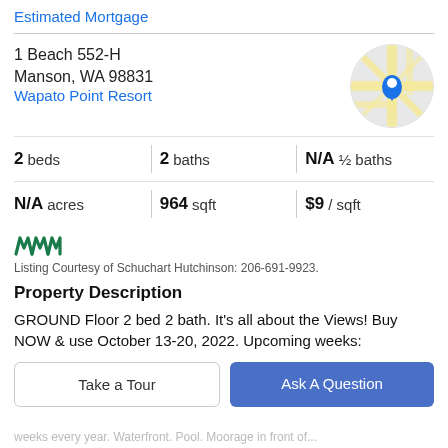Estimated Mortgage
1 Beach 552-H
Manson, WA 98831
Wapato Point Resort
[Figure (map): Circular cropped Google Maps thumbnail showing street map with a blue location pin marker in the center, roads in yellow/tan, background in light gray.]
2 beds | 2 baths | N/A ½ baths
N/A acres | 964 sqft | $9 / sqft
[Figure (logo): MLS logo — stylized 'M' in dark green, repeated three times, bold zigzag letterform]
Listing Courtesy of Schuchart Hutchinson: 206-691-9923.
Property Description
GROUND Floor 2 bed 2 bath. It's all about the Views! Buy NOW & use October 13-20, 2022. Upcoming weeks:
Take a Tour
Ask A Question